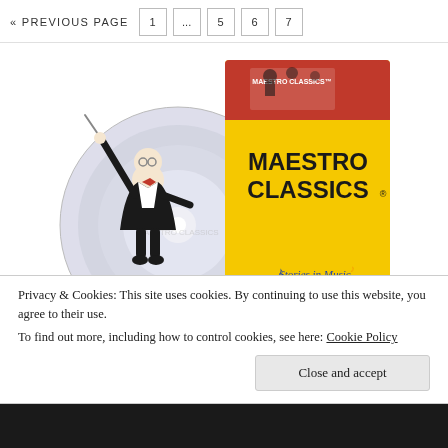« PREVIOUS PAGE  1  ...  5  6  7
[Figure (photo): Maestro Classics CD product image showing a cartoon conductor in a tuxedo with a CD disc and yellow product packaging with 'MAESTRO CLASSICS' text and 'Stories in Music' tagline]
Privacy & Cookies: This site uses cookies. By continuing to use this website, you agree to their use.
To find out more, including how to control cookies, see here: Cookie Policy
Close and accept